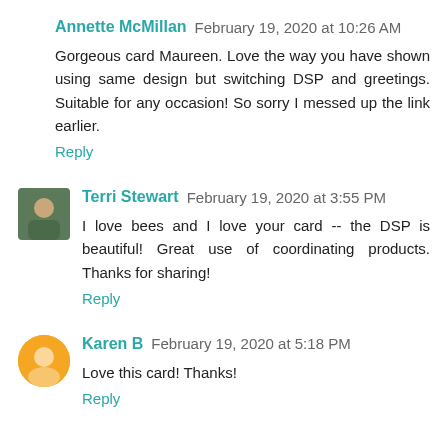Annette McMillan  February 19, 2020 at 10:26 AM
Gorgeous card Maureen. Love the way you have shown using same design but switching DSP and greetings. Suitable for any occasion! So sorry I messed up the link earlier.
Reply
Terri Stewart  February 19, 2020 at 3:55 PM
I love bees and I love your card -- the DSP is beautiful! Great use of coordinating products. Thanks for sharing!
Reply
Karen B  February 19, 2020 at 5:18 PM
Love this card! Thanks!
Reply